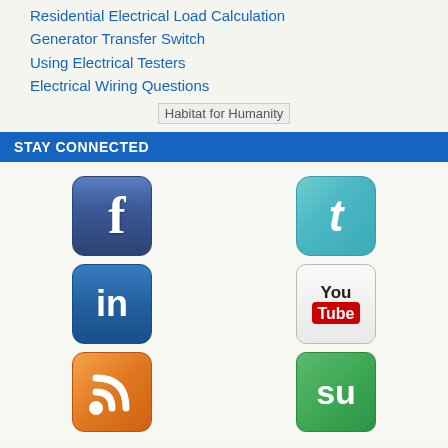Residential Electrical Load Calculation
Generator Transfer Switch
Using Electrical Testers
Electrical Wiring Questions
[Figure (logo): Habitat for Humanity logo placeholder image]
STAY CONNECTED
[Figure (infographic): Social media icons grid: Facebook, Twitter, LinkedIn, YouTube, RSS, StumbleUpon]
ELECTRICAL NEWS UPDATES
Sign up to receive our Free Electrical Wiring Newsletter!
Electrical Tips Newsletter